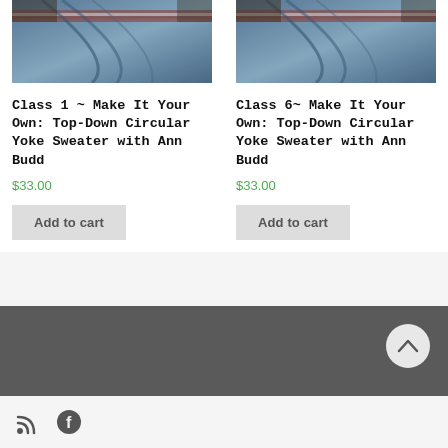[Figure (photo): Close-up photo of a knitted sweater yoke with colorwork stripes in red and white on blue/grey background (left product image)]
[Figure (photo): Close-up photo of a knitted sweater yoke with colorwork stripes in red and white on blue/grey background (right product image)]
Class 1 ~ Make It Your Own: Top-Down Circular Yoke Sweater with Ann Budd
$33.00
Add to cart
Class 6~ Make It Your Own: Top-Down Circular Yoke Sweater with Ann Budd
$33.00
Add to cart